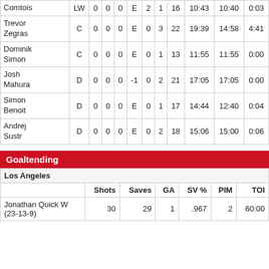| Player | Pos | G | A | P | +/- | PIM | SOG | # | TOI | EV | PP |
| --- | --- | --- | --- | --- | --- | --- | --- | --- | --- | --- | --- |
| Comtois | LW | 0 | 0 | 0 | E | 2 | 1 | 16 | 10:43 | 10:40 | 0:03 |
| Trevor Zegras | C | 0 | 0 | 0 | E | 0 | 3 | 22 | 19:39 | 14:58 | 4:41 |
| Dominik Simon | C | 0 | 0 | 0 | E | 0 | 1 | 13 | 11:55 | 11:55 | 0:00 |
| Josh Mahura | D | 0 | 0 | 0 | -1 | 0 | 2 | 21 | 17:05 | 17:05 | 0:00 |
| Simon Benoit | D | 0 | 0 | 0 | E | 0 | 1 | 17 | 14:44 | 12:40 | 0:04 |
| Andrej Sustr | D | 0 | 0 | 0 | E | 0 | 2 | 18 | 15:06 | 15:00 | 0:06 |
Goaltending
|  | Shots | Saves | GA | SV % | PIM | TOI |
| --- | --- | --- | --- | --- | --- | --- |
| Los Angeles |  |  |  |  |  |  |
| Jonathan Quick W (23-13-9) | 30 | 29 | 1 | .967 | 2 | 60:00 |